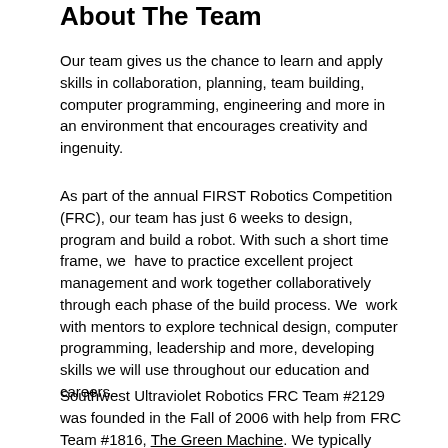About The Team
Our team gives us the chance to learn and apply skills in collaboration, planning, team building, computer programming, engineering and more in an environment that encourages creativity and ingenuity.
As part of the annual FIRST Robotics Competition (FRC), our team has just 6 weeks to design, program and build a robot. With such a short time frame, we have to practice excellent project management and work together collaboratively through each phase of the build process. We work with mentors to explore technical design, computer programming, leadership and more, developing skills we will use throughout our education and careers.
Southwest Ultraviolet Robotics FRC Team #2129 was founded in the Fall of 2006 with help from FRC Team #1816, The Green Machine. We typically have 15-30 students on our team and always welcome